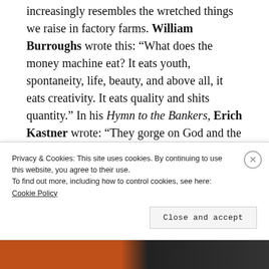increasingly resembles the wretched things we raise in factory farms. William Burroughs wrote this: “What does the money machine eat? It eats youth, spontaneity, life, beauty, and above all, it eats creativity. It eats quality and shits quantity.” In his Hymn to the Bankers, Erich Kastner wrote: “They gorge on God and the world. They do not sow. They just reap. They are the sorcerers in the flesh
Privacy & Cookies: This site uses cookies. By continuing to use this website, you agree to their use.
To find out more, including how to control cookies, see here: Cookie Policy